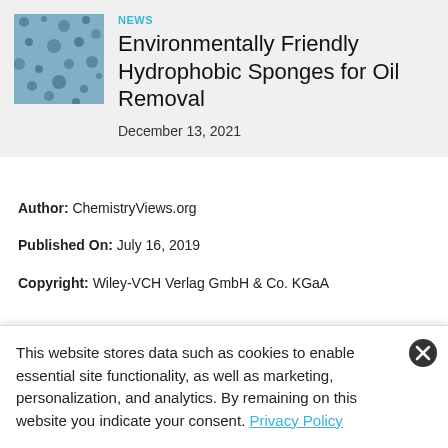[Figure (photo): Blue sponge material texture close-up photo, showing porous surface]
NEWS
Environmentally Friendly Hydrophobic Sponges for Oil Removal
December 13, 2021
Author: ChemistryViews.org
Published On: July 16, 2019
Copyright: Wiley-VCH Verlag GmbH & Co. KGaA
Category: NEWS
Subject: MATERIALS | SUSTAINABILITY | WATER
This website stores data such as cookies to enable essential site functionality, as well as marketing, personalization, and analytics. By remaining on this website you indicate your consent. Privacy Policy